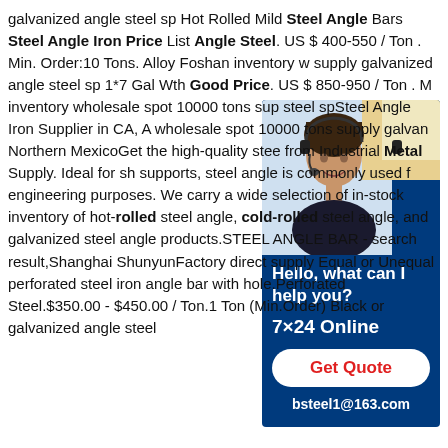galvanized angle steel sp Hot Rolled Mild Steel Angle Bars Steel Angle Iron Price List Angle Steel. US $ 400-550 / Ton . Min. Order:10 Tons. Alloy Foshan inventory w supply galvanized angle steel sp 1*7 Gal Wth Good Price. US $ 850-950 / Ton . M inventory wholesale spot 10000 tons sup steel spSteel Angle Iron Supplier in CA, A wholesale spot 10000 tons supply galvan Northern MexicoGet the high-quality stee from Industrial Metal Supply. Ideal for sh supports, steel angle is commonly used f engineering purposes. We carry a wide selection of in-stock inventory of hot-rolled steel angle, cold-rolled steel angle, and galvanized steel angle products.STEEL ANGLE BAR - search result,Shanghai ShunyunFactory direct supply Equal or Unequal perforated steel iron angle bar with hole.Perforated Steel.$350.00 - $450.00 / Ton.1 Ton (Min.Order) Black or galvanized angle steel
[Figure (photo): Customer service representative with headset, overlaid on dark blue sidebar with contact information including 'Hello, what can I help you?', '7x24 Online', 'Get Quote' button, and 'bsteel1@163.com']